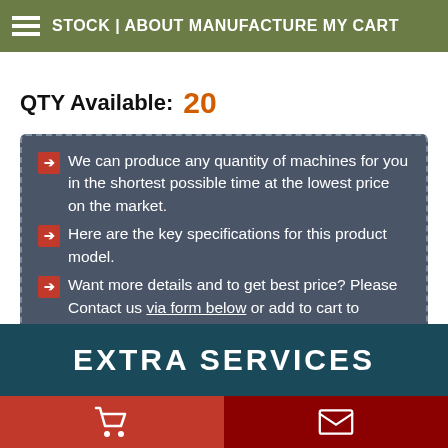STOCK | ABOUT MANUFACTURE MY CART
QTY Available: 20
We can produce any quantity of machines for you in the shortest possible time at the lowest price on the market.
Here are the key specifications for this product model.
Want more details and to get best price? Please Contact us via form below or add to cart to continue shopping..
ADD TO MY CART
Enquiries: 6311
Copy page link
EXTRA SERVICES